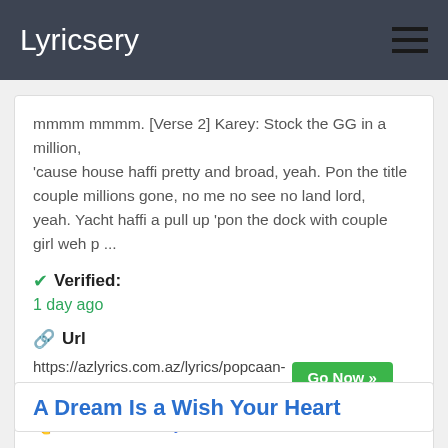Lyricsery
mmmm mmmm. [Verse 2] Karey: Stock the GG in a million, 'cause house haffi pretty and broad, yeah. Pon the title couple millions gone, no me no see no land lord, yeah. Yacht haffi a pull up 'pon the dock with couple girl weh p ...
Verified: 1 day ago
Url https://azlyrics.com.az/lyrics/popcaan-live-some-life-lyrics/
More hotwax lyrics
A Dream Is a Wish Your Heart